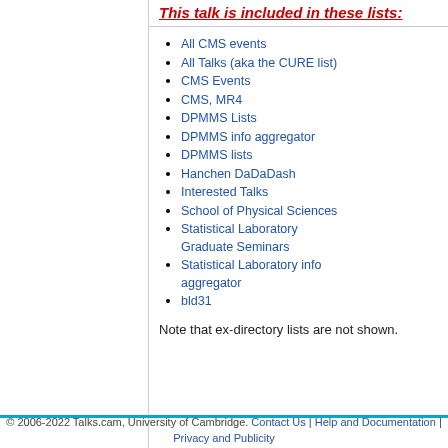This talk is included in these lists:
All CMS events
All Talks (aka the CURE list)
CMS Events
CMS, MR4
DPMMS Lists
DPMMS info aggregator
DPMMS lists
Hanchen DaDaDash
Interested Talks
School of Physical Sciences
Statistical Laboratory Graduate Seminars
Statistical Laboratory info aggregator
bld31
Note that ex-directory lists are not shown.
© 2006-2022 Talks.cam, University of Cambridge. Contact Us | Help and Documentation | Privacy and Publicity